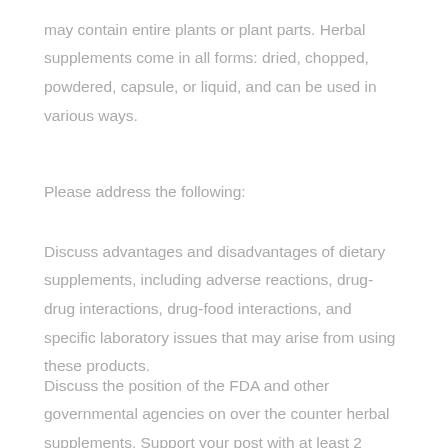may contain entire plants or plant parts. Herbal supplements come in all forms: dried, chopped, powdered, capsule, or liquid, and can be used in various ways.
Please address the following:
Discuss advantages and disadvantages of dietary supplements, including adverse reactions, drug-drug interactions, drug-food interactions, and specific laboratory issues that may arise from using these products.
Discuss the position of the FDA and other governmental agencies on over the counter herbal supplements. Support your post with at least 2